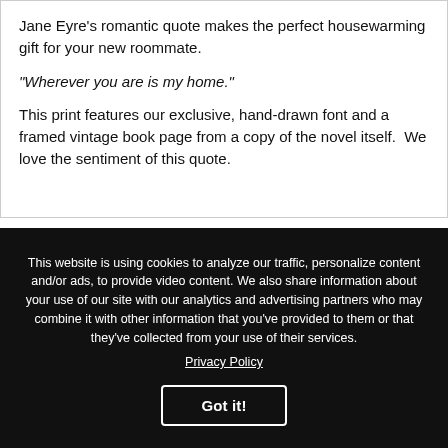Jane Eyre's romantic quote makes the perfect housewarming gift for your new roommate.
"Wherever you are is my home."
This print features our exclusive, hand-drawn font and a framed vintage book page from a copy of the novel itself.  We love the sentiment of this quote.
This website is using cookies to analyze our traffic, personalize content and/or ads, to provide video content. We also share information about your use of our site with our analytics and advertising partners who may combine it with other information that you've provided to them or that they've collected from your use of their services.
Privacy Policy
Got it!